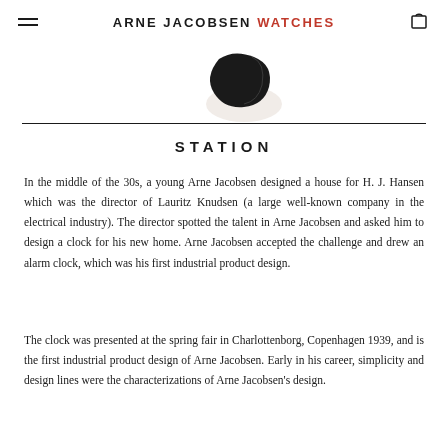ARNE JACOBSEN WATCHES
[Figure (photo): Partial view of a dark watch or clock object shown from above, cropped at the top of the page.]
STATION
In the middle of the 30s, a young Arne Jacobsen designed a house for H. J. Hansen which was the director of Lauritz Knudsen (a large well-known company in the electrical industry). The director spotted the talent in Arne Jacobsen and asked him to design a clock for his new home. Arne Jacobsen accepted the challenge and drew an alarm clock, which was his first industrial product design.
The clock was presented at the spring fair in Charlottenborg, Copenhagen 1939, and is the first industrial product design of Arne Jacobsen. Early in his career, simplicity and design lines were the characterizations of Arne Jacobsen's design.